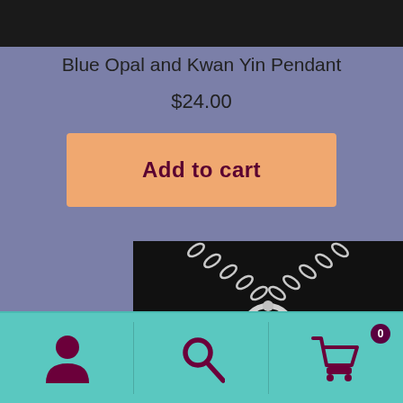Blue Opal and Kwan Yin Pendant
$24.00
Add to cart
[Figure (photo): Close-up photo of a silver Kwan Yin pendant on a chain against a black background]
[Figure (other): Bottom navigation bar with user account icon, search icon, and shopping cart icon with badge showing 0]